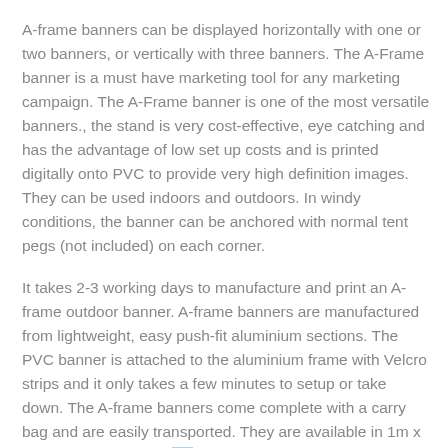A-frame banners can be displayed horizontally with one or two banners, or vertically with three banners. The A-Frame banner is a must have marketing tool for any marketing campaign. The A-Frame banner is one of the most versatile banners., the stand is very cost-effective, eye catching and has the advantage of low set up costs and is printed digitally onto PVC to provide very high definition images. They can be used indoors and outdoors. In windy conditions, the banner can be anchored with normal tent pegs (not included) on each corner.
It takes 2-3 working days to manufacture and print an A-frame outdoor banner. A-frame banners are manufactured from lightweight, easy push-fit aluminium sections. The PVC banner is attached to the aluminium frame with Velcro strips and it only takes a few minutes to setup or take down. The A-frame banners come complete with a carry bag and are easily transported. They are available in 1m x 2m, 1m x 3m or 1m x 4m sizes. We can also customise the size of the frames but minimum